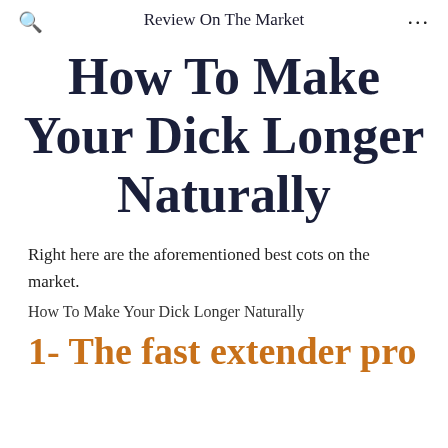Review On The Market
How To Make Your Dick Longer Naturally
Right here are the aforementioned best cots on the market.
How To Make Your Dick Longer Naturally
1- The fast extender pro